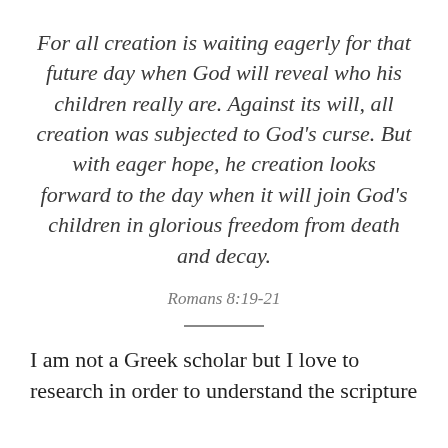For all creation is waiting eagerly for that future day when God will reveal who his children really are. Against its will, all creation was subjected to God’s curse. But with eager hope, he creation looks forward to the day when it will join God’s children in glorious freedom from death and decay.
Romans 8:19-21
I am not a Greek scholar but I love to research in order to understand the scripture